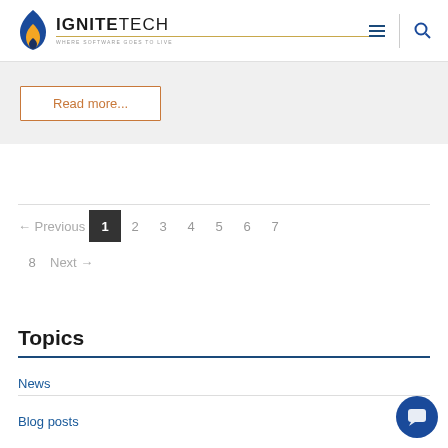IGNITETECH — WHERE SOFTWARE GOES TO LIVE
Read more...
← Previous  1  2  3  4  5  6  7  8  Next →
Topics
News
Blog posts